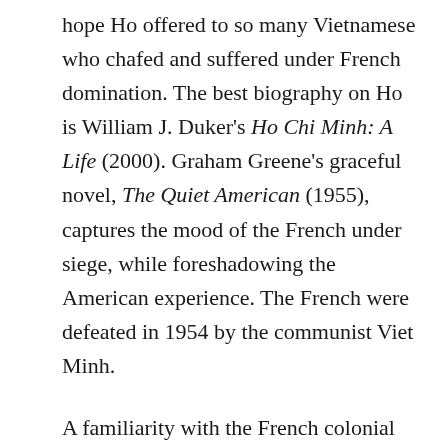hope Ho offered to so many Vietnamese who chafed and suffered under French domination. The best biography on Ho is William J. Duker's Ho Chi Minh: A Life (2000). Graham Greene's graceful novel, The Quiet American (1955), captures the mood of the French under siege, while foreshadowing the American experience. The French were defeated in 1954 by the communist Viet Minh.
A familiarity with the French colonial experience in Vietnam is important for Americans' study, as the Americans ignored or misread the lessons from the French failure. The French war was also America's initial entry, as the US funded 80 percent of the war